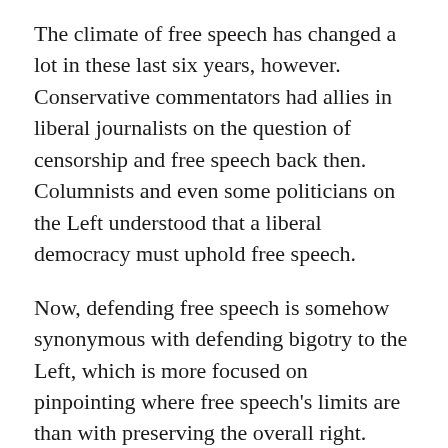The climate of free speech has changed a lot in these last six years, however. Conservative commentators had allies in liberal journalists on the question of censorship and free speech back then. Columnists and even some politicians on the Left understood that a liberal democracy must uphold free speech.
Now, defending free speech is somehow synonymous with defending bigotry to the Left, which is more focused on pinpointing where free speech's limits are than with preserving the overall right.
Groups like PEN, Amnesty and Canadian Journalists for Free Expression care far more about identity politics than upholding freedom of expression.
Amnesty Canada, for example, testified in support of online hate speech regulation, arguing the “right to free